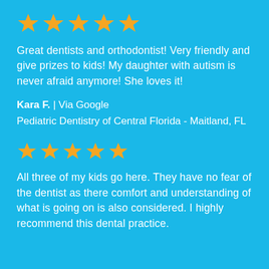[Figure (other): Five gold star rating icons]
Great dentists and orthodontist! Very friendly and give prizes to kids! My daughter with autism is never afraid anymore! She loves it!
Kara F. | Via Google
Pediatric Dentistry of Central Florida - Maitland, FL
[Figure (other): Five gold star rating icons]
All three of my kids go here. They have no fear of the dentist as there comfort and understanding of what is going on is also considered. I highly recommend this dental practice.